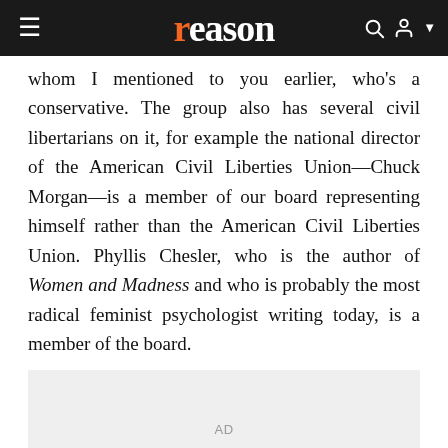reason
whom I mentioned to you earlier, who's a conservative. The group also has several civil libertarians on it, for example the national director of the American Civil Liberties Union—Chuck Morgan—is a member of our board representing himself rather than the American Civil Liberties Union. Phyllis Chesler, who is the author of Women and Madness and who is probably the most radical feminist psychologist writing today, is a member of the board.
[Figure (other): Advertisement placeholder block labeled AD]
But there are other board members who really are more within the Establishment and who really have been very concerned about the psychiatric oppression. Richard Allan